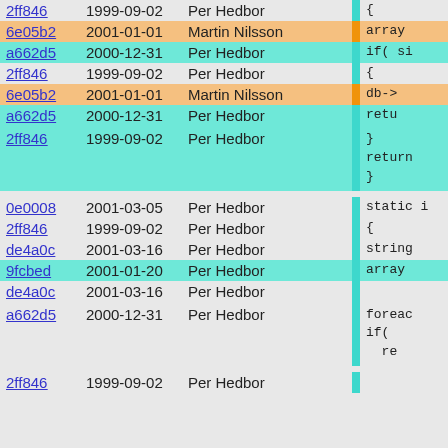| hash | date | author |  | code |
| --- | --- | --- | --- | --- |
| 2ff846 | 1999-09-02 | Per Hedbor |  | { |
| 6e05b2 | 2001-01-01 | Martin Nilsson |  | array |
| a662d5 | 2000-12-31 | Per Hedbor |  | if( si |
| 2ff846 | 1999-09-02 | Per Hedbor |  | { |
| 6e05b2 | 2001-01-01 | Martin Nilsson |  | db-> |
| a662d5 | 2000-12-31 | Per Hedbor |  | retu |
| 2ff846 | 1999-09-02 | Per Hedbor |  | }
return
} |
| 0e0008 | 2001-03-05 | Per Hedbor |  | static i |
| 2ff846 | 1999-09-02 | Per Hedbor |  | { |
| de4a0c | 2001-03-16 | Per Hedbor |  | string |
| 9fcbed | 2001-01-20 | Per Hedbor |  | array |
| de4a0c | 2001-03-16 | Per Hedbor |  |  |
| a662d5 | 2000-12-31 | Per Hedbor |  | foreac
if(
  re |
| 2ff846 | 1999-09-02 | Per Hedbor |  |  |